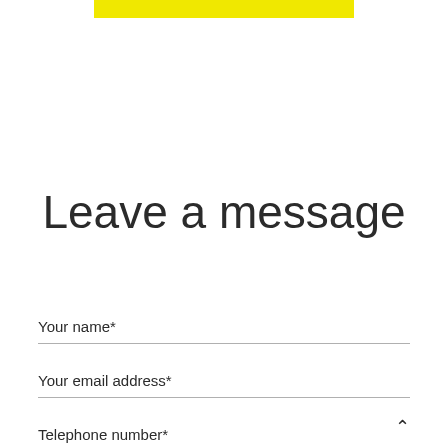[Figure (other): Yellow horizontal bar at top center of page]
Leave a message
Your name*
Your email address*
Telephone number*